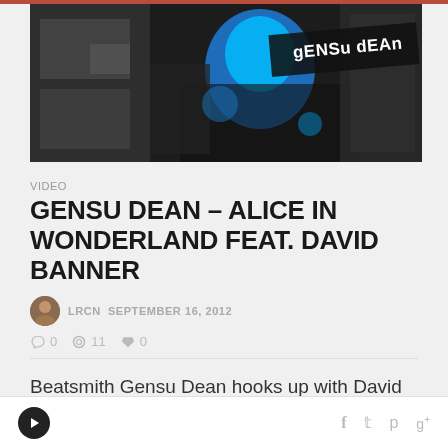[Figure (illustration): Hero banner image for Gensu Dean music article — dark background with blue artistic illustration of a person, text overlay reading 'gENSu dEAn' in stylized font]
VIDEO
GENSU DEAN – ALICE IN WONDERLAND FEAT. DAVID BANNER
LRCN SEPTEMBER 16, 2012
0  11  0
Beatsmith Gensu Dean hooks up with David Banner on this